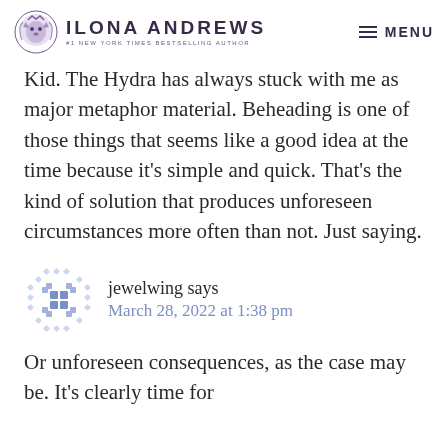Ilona Andrews — #1 New York Times Bestselling Author | MENU
Kid. The Hydra has always stuck with me as major metaphor material. Beheading is one of those things that seems like a good idea at the time because it's simple and quick. That's the kind of solution that produces unforeseen circumstances more often than not. Just saying.
jewelwing says
March 28, 2022 at 1:38 pm
Or unforeseen consequences, as the case may be. It's clearly time for